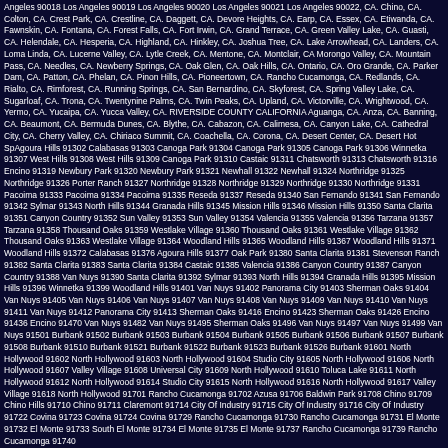Angeles 90018 Los Angeles 90019 Los Angeles 90020 Los Angeles 90021 Los Angeles 90022, CA. Chino, CA. Colton, CA. Crest Park, CA. Crestline, CA. Daggett, CA. Devore Heights, CA. Earp, CA. Essex, CA. Etiwanda, CA. Fawnskin, CA. Fontana, CA. Forest Falls, CA. Fort Irwin, CA. Grand Terrace, CA. Green Valley Lake, CA. Guasti, CA. Helendale, CA. Hesperia, CA. Highland, CA. Hinkley, CA. Joshua Tree, CA. Lake Arrowhead, CA. Landers, CA. Loma Linda, CA. Lucerne Valley, CA. Lytle Creek, CA. Mentone, CA. Montclair, CA Morongo Valley, CA. Mountain Pass, CA. Needles, CA. Newberry Springs, CA. Oak Glen, CA. Oak Hills, CA. Ontario, CA. Oro Grande, CA. Parker Dam, CA. Patton, CA. Phelan, CA. Pinon Hills, CA. Pioneertown, CA. Rancho Cucamonga, CA. Redlands, CA. Rialto, CA. Rimforest, CA. Running Springs, CA. San Bernardino, CA. Skyforest, CA. Spring Valley Lake, CA. Sugarloaf, CA. Trona, CA. Twentynine Palms, CA. Twin Peaks, CA. Upland, CA. Victorville, CA. Wrightwood, CA. Yermo, CA. Yucaipa, CA. Yucca Valley, CA. RIVERSIDE COUNTY CALIFORNIA Aguanga, CA. Anza, CA. Banning, CA. Beaumont, CA. Bermuda Dunes, CA. Blythe, CA. Cabazon, CA. Calimesa, CA. Canyon Lake, CA. Cathedral City, CA. Cherry Valley, CA. Chiriaco Summit, CA. Coachella, CA. Corona, CA. Desert Center, CA. Desert Hot SpAgoura Hills 91302 Calabasas 91303 Canoga Park 91304 Canoga Park 91305 Canoga Park 91306 Winnetka 91307 West Hills 91308 West Hills 91309 Canoga Park 91310 Castaic 91311 Chatsworth 91313 Chatsworth 91316 Encino 91319 Newbury Park 91320 Newbury Park 91321 Newhall 91322 Newhall 91324 Northridge 91325 Northridge 91326 Porter Ranch 91327 Northridge 91328 Northridge 91329 Northridge 91330 Northridge 91331 Pacoima 91333 Pacoima 91334 Pacoima 91335 Reseda 91337 Reseda 91340 San Fernando 91341 San Fernando 91342 Sylmar 91343 North Hills 91344 Granada Hills 91345 Mission Hills 91346 Mission Hills 91350 Santa Clarita 91351 Canyon Country 91352 Sun Valley 91353 Sun Valley 91354 Valencia 91355 Valencia 91356 Tarzana 91357 Tarzana 91358 Thousand Oaks 91359 Westlake Village 91360 Thousand Oaks 91361 Westlake Village 91362 Thousand Oaks 91363 Westlake Village 91364 Woodland Hills 91365 Woodland Hills 91367 Woodland Hills 91371 Woodland Hills 91372 Calabasas 91376 Agoura Hills 91377 Oak Park 91380 Santa Clarita 91381 Stevenson Ranch 91382 Santa Clarita 91383 Santa Clarita 91384 Castaic 91385 Valencia 91386 Canyon Country 91387 Canyon Country 91388 Van Nuys 91390 Santa Clarita 91392 Sylmar 91393 North Hills 91394 Granada Hills 91395 Mission Hills 91396 Winnetka 91399 Woodland Hills 91401 Van Nuys 91402 Panorama City 91403 Sherman Oaks 91404 Van Nuys 91405 Van Nuys 91406 Van Nuys 91407 Van Nuys 91408 Van Nuys 91409 Van Nuys 91410 Van Nuys 91411 Van Nuys 91412 Panorama City 91413 Sherman Oaks 91416 Encino 91423 Sherman Oaks 91426 Encino 91436 Encino 91470 Van Nuys 91482 Van Nuys 91495 Sherman Oaks 91496 Van Nuys 91497 Van Nuys 91499 Van Nuys 91501 Burbank 91502 Burbank 91503 Burbank 91504 Burbank 91505 Burbank 91506 Burbank 91507 Burbank 91508 Burbank 91510 Burbank 91521 Burbank 91522 Burbank 91523 Burbank 91526 Burbank 91601 North Hollywood 91602 North Hollywood 91603 North Hollywood 91604 Studio City 91605 North Hollywood 91606 North Hollywood 91607 Valley Village 91608 Universal City 91609 North Hollywood 91610 Toluca Lake 91611 North Hollywood 91612 North Hollywood 91614 Studio City 91615 North Hollywood 91616 North Hollywood 91617 Valley Village 91618 North Hollywood 91701 Rancho Cucamonga 91702 Azusa 91706 Baldwin Park 91708 Chino 91709 Chino Hills 91710 Chino 91711 Claremont 91714 City Of Industry 91715 City Of Industry 91716 City Of Industry 91722 Covina 91723 Covina 91724 Covina 91729 Rancho Cucamonga 91730 Rancho Cucamonga 91731 El Monte 91732 El Monte 91733 South El Monte 91734 El Monte 91735 El Monte 91737 Rancho Cucamonga 91739 Rancho Cucamonga 91740